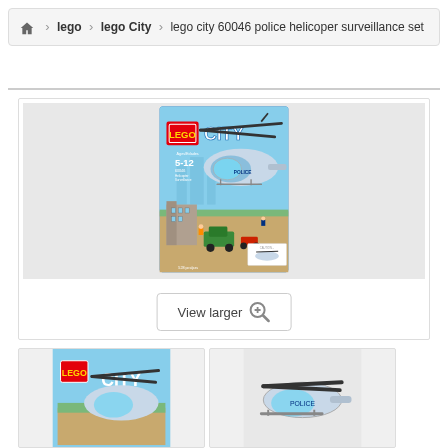🏠 > lego > lego City > lego city 60046 police helicoper surveillance set
[Figure (photo): LEGO City 60046 Police Helicopter Surveillance Set product box showing a large police helicopter, mini-figures, buildings, and vehicles. Box shows ages 5-12, 528 pieces. A 'View larger' button with magnifying glass icon is overlaid at the bottom.]
[Figure (photo): Thumbnail image of LEGO City 60046 box front]
[Figure (photo): Thumbnail image of LEGO City 60046 helicopter built model]